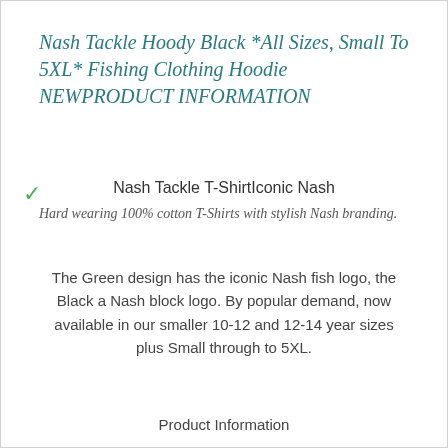Nash Tackle Hoody Black *All Sizes, Small To 5XL* Fishing Clothing Hoodie NEWPRODUCT INFORMATION
Nash Tackle T-ShirtIconic Nash
Hard wearing 100% cotton T-Shirts with stylish Nash branding.
The Green design has the iconic Nash fish logo, the Black a Nash block logo. By popular demand, now available in our smaller 10-12 and 12-14 year sizes plus Small through to 5XL.
Product Information